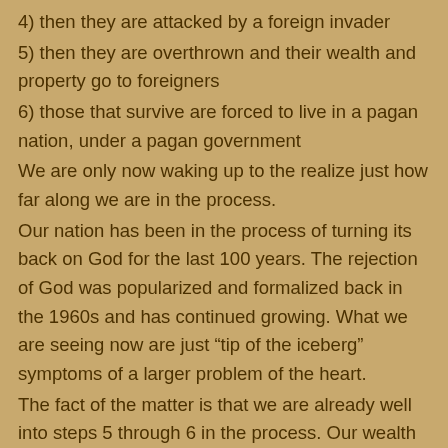4) then they are attacked by a foreign invader
5) then they are overthrown and their wealth and property go to foreigners
6) those that survive are forced to live in a pagan nation, under a pagan government
We are only now waking up to the realize just how far along we are in the process.
Our nation has been in the process of turning its back on God for the last 100 years.  The rejection of God was popularized and formalized back in the 1960s and has continued growing.  What we are seeing now are just “tip of the iceberg” symptoms of a larger problem of the heart.
The fact of the matter is that we are already well into steps 5 through 6 in the process.  Our wealth and property is being stolen by international opportunists.